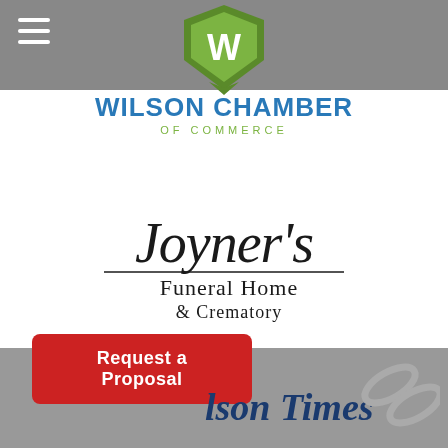[Figure (logo): Wilson Chamber of Commerce logo with green W shield emblem at top, blue bold text WILSON CHAMBER, green spaced text OF COMMERCE]
[Figure (logo): Joyner's Funeral Home & Crematory logo in black script and serif typography]
Request a Proposal
[Figure (logo): Partial Wilson Times newspaper logo in dark blue serif italic font, and partial link/chain icon in gray on the right]